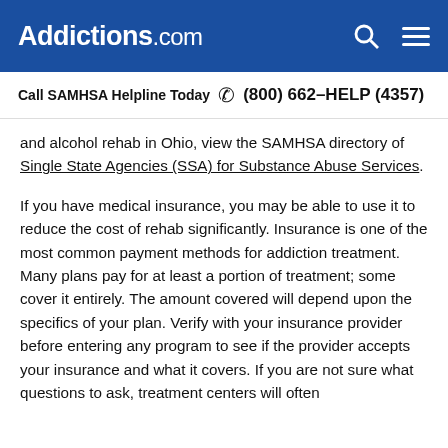Addictions.com
Call SAMHSA Helpline Today  (800) 662-HELP (4357)
and alcohol rehab in Ohio, view the SAMHSA directory of Single State Agencies (SSA) for Substance Abuse Services.
If you have medical insurance, you may be able to use it to reduce the cost of rehab significantly. Insurance is one of the most common payment methods for addiction treatment. Many plans pay for at least a portion of treatment; some cover it entirely. The amount covered will depend upon the specifics of your plan. Verify with your insurance provider before entering any program to see if the provider accepts your insurance and what it covers. If you are not sure what questions to ask, treatment centers will often